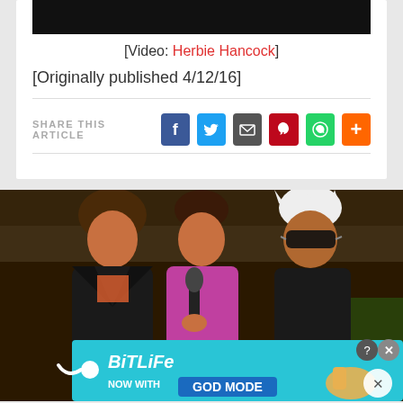[Figure (screenshot): Black video thumbnail at top of article card]
[Video: Herbie Hancock]
[Originally published 4/12/16]
SHARE THIS ARTICLE with social sharing buttons: Facebook, Twitter, Email, Pinterest, WhatsApp, More
[Figure (photo): Three people standing at a baseball stadium being interviewed with a microphone, with a BitLife advertisement banner overlay at the bottom]